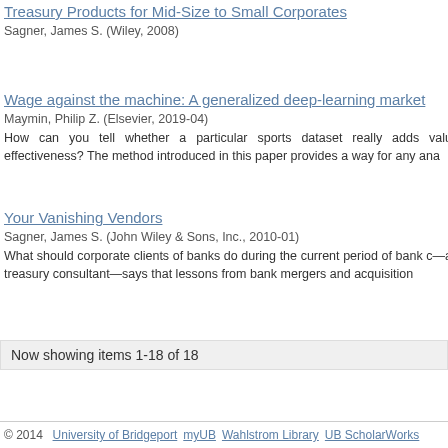Treasury Products for Mid-Size to Small Corporates
Sagner, James S. (Wiley, 2008)
Wage against the machine: A generalized deep-learning market
Maymin, Philip Z. (Elsevier, 2019-04)
How can you tell whether a particular sports dataset really adds valu effectiveness? The method introduced in this paper provides a way for any ana
Your Vanishing Vendors
Sagner, James S. (John Wiley & Sons, Inc., 2010-01)
What should corporate clients of banks do during the current period of bank c—a treasury consultant—says that lessons from bank mergers and acquisition
Now showing items 1-18 of 18
© 2014  University of Bridgeport  myUB  Wahlstrom Library  UB ScholarWorks